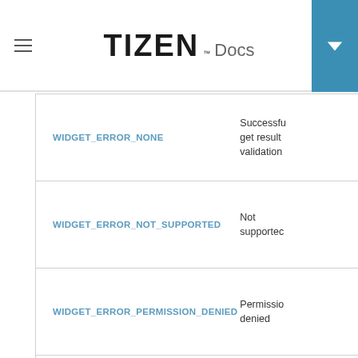TIZEN Docs
| Enum Value | Description |
| --- | --- |
| WIDGET_ERROR_NONE | Successful, get result from validation |
| WIDGET_ERROR_NOT_SUPPORTED | Not supported |
| WIDGET_ERROR_PERMISSION_DENIED | Permission denied |
| WIDGET_ERROR_INVALID_PARAMETER | Invalid argument |
| WIDGET_ERROR_FAULT | Not |